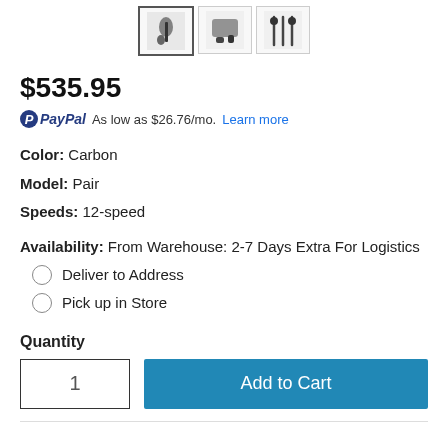[Figure (photo): Three product thumbnail images of cycling components (shifters/derailleurs), the first one selected with a border.]
$535.95
PayPal As low as $26.76/mo. Learn more
Color: Carbon
Model: Pair
Speeds: 12-speed
Availability: From Warehouse: 2-7 Days Extra For Logistics
Deliver to Address
Pick up in Store
Quantity
1
Add to Cart